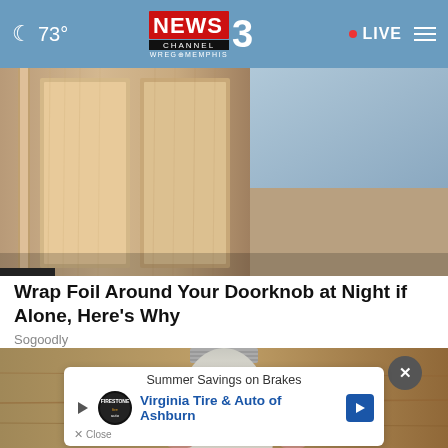73° NEWS3 CHANNEL WREG MEMPHIS • LIVE
[Figure (photo): Close-up photo of a wooden door panel/doorknob area with wood grain texture]
Wrap Foil Around Your Doorknob at Night if Alone, Here's Why
Sogoodly
[Figure (photo): A hand holding a white light bulb near a wooden surface]
[Figure (other): Advertisement: Summer Savings on Brakes - Virginia Tire & Auto of Ashburn]